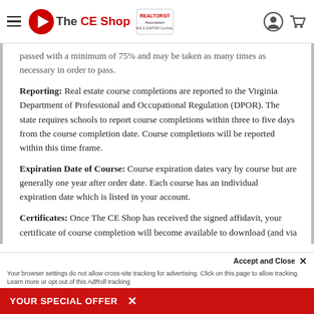The CE Shop — REALTORS Association
passed with a minimum of 75% and may be taken as many times as necessary in order to pass.
Reporting: Real estate course completions are reported to the Virginia Department of Professional and Occupational Regulation (DPOR). The state requires schools to report course completions within three to five days from the course completion date. Course completions will be reported within this time frame.
Expiration Date of Course: Course expiration dates vary by course but are generally one year after order date. Each course has an individual expiration date which is listed in your account.
Certificates: Once The CE Shop has received the signed affidavit, your certificate of course completion will become available to download (and via... upon completion of the
YOUR SPECIAL OFFER  ×  |  Accept and Close ×  Your browser settings do not allow cross-site tracking for advertising. Click on this page to allow tracking. Learn more or opt out of this AdRoll tracking